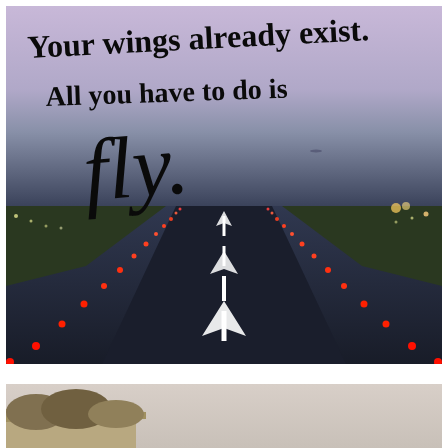[Figure (photo): Airport runway at dusk with red and white runway lights stretching into the distance. Handwritten text overlaid reads: 'Your wings already exist. All you have to do is fly.']
[Figure (photo): Partial view of a landscape or outdoor scene, partially cut off at bottom of page.]